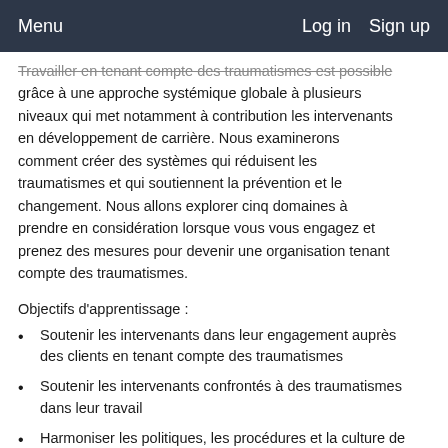Menu   Log in   Sign up
Travailler en tenant compte des traumatismes est possible grâce à une approche systémique globale à plusieurs niveaux qui met notamment à contribution les intervenants en développement de carrière. Nous examinerons comment créer des systèmes qui réduisent les traumatismes et qui soutiennent la prévention et le changement. Nous allons explorer cinq domaines à prendre en considération lorsque vous vous engagez et prenez des mesures pour devenir une organisation tenant compte des traumatismes.
Objectifs d'apprentissage :
Soutenir les intervenants dans leur engagement auprès des clients en tenant compte des traumatismes
Soutenir les intervenants confrontés à des traumatismes dans leur travail
Harmoniser les politiques, les procédures et la culture de l'organisation avec les approches tenant compte des